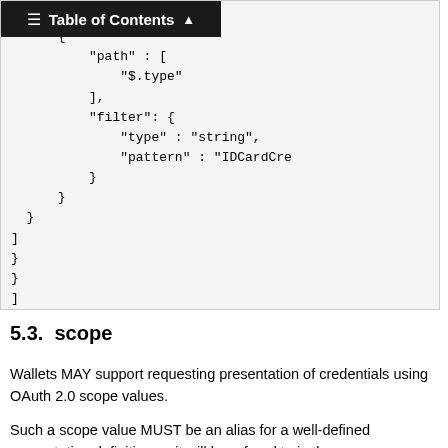[Figure (screenshot): Code block showing JSON snippet with fields path, filter with type string and pattern IDCardCre, followed by closing brackets and braces. A Table of Contents banner overlays the top-right corner.]
5.3.  scope
Wallets MAY support requesting presentation of credentials using OAuth 2.0 scope values.
Such a scope value MUST be an alias for a well-defined presentation definition as it will be refered to in the presentation_submission response parameter.
The concrete scope values and the mapping between a